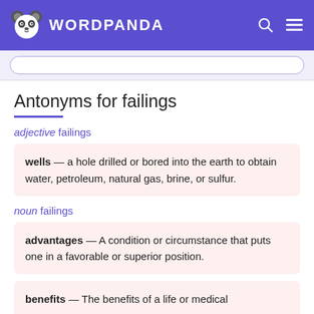WORDPANDA
Antonyms for failings
adjective failings
wells — a hole drilled or bored into the earth to obtain water, petroleum, natural gas, brine, or sulfur.
noun failings
advantages — A condition or circumstance that puts one in a favorable or superior position.
benefits — The benefits of a life or medical